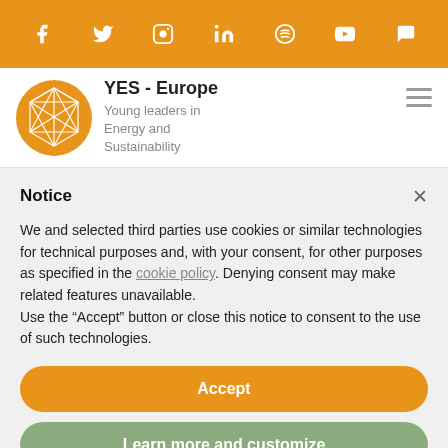[Figure (infographic): Orange social media bar with icons: Facebook, Twitter, Instagram, LinkedIn, Spotify, YouTube, Discord]
[Figure (logo): YES - Europe logo: orange circle with geometric polygonal pattern, text 'YES - Europe' bold and 'Young leaders in Energy and Sustainability' subtitle in grey]
Notice
We and selected third parties use cookies or similar technologies for technical purposes and, with your consent, for other purposes as specified in the cookie policy. Denying consent may make related features unavailable.
Use the “Accept” button or close this notice to consent to the use of such technologies.
Accept
Learn more and customize